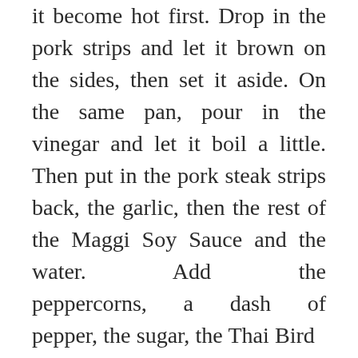it become hot first. Drop in the pork strips and let it brown on the sides, then set it aside. On the same pan, pour in the vinegar and let it boil a little. Then put in the pork steak strips back, the garlic, then the rest of the Maggi Soy Sauce and the water.      Add      the peppercorns,  a  dash  of pepper, the sugar, the Thai Bird  Chili  and  half  a  tea spoon  of  Maggi  Magic Sarap. You can also add the 3 Laurel Leaves and let it simmer. If not the...